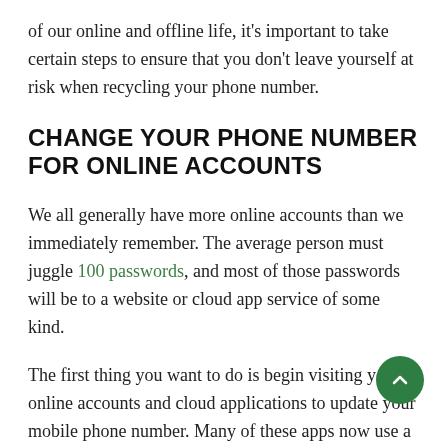of our online and offline life, it's important to take certain steps to ensure that you don't leave yourself at risk when recycling your phone number.
CHANGE YOUR PHONE NUMBER FOR ONLINE ACCOUNTS
We all generally have more online accounts than we immediately remember. The average person must juggle 100 passwords, and most of those passwords will be to a website or cloud app service of some kind.
The first thing you want to do is begin visiting your online accounts and cloud applications to update your mobile phone number. Many of these apps now use a text message to your number as a form of